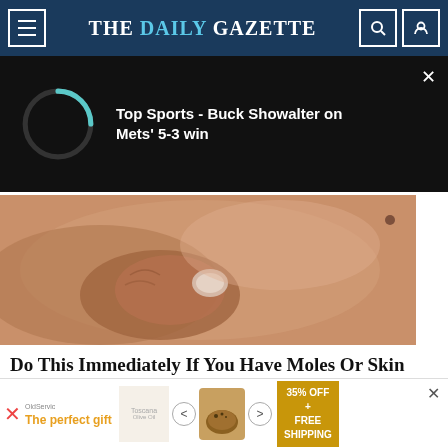THE DAILY GAZETTE
[Figure (screenshot): Video player with loading spinner on black background. Text reads: Top Sports - Buck Showalter on Mets' 5-3 win]
[Figure (photo): Close-up photo of a hand/finger touching skin with a mole or skin tag]
Do This Immediately If You Have Moles Or Skin Tags, It's Genius
Be Gone
[Figure (infographic): Bottom advertisement banner: The perfect gift, 35% OFF + FREE SHIPPING]